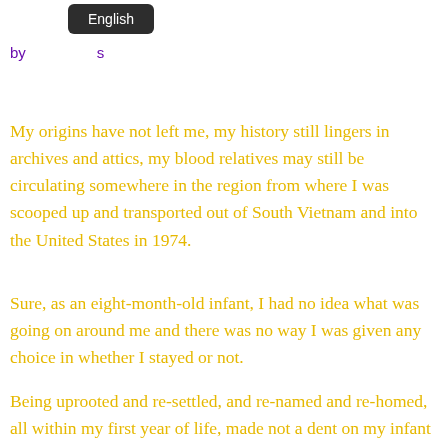by [name obscured]s
My origins have not left me, my history still lingers in archives and attics, my blood relatives may still be circulating somewhere in the region from where I was scooped up and transported out of South Vietnam and into the United States in 1974.
Sure, as an eight-month-old infant, I had no idea what was going on around me and there was no way I was given any choice in whether I stayed or not.
Being uprooted and re-settled, and re-named and re-homed, all within my first year of life, made not a dent on my infant memory.
The failure of recall of all the micro and macro events and faces behind them who coordinated and shaped my early